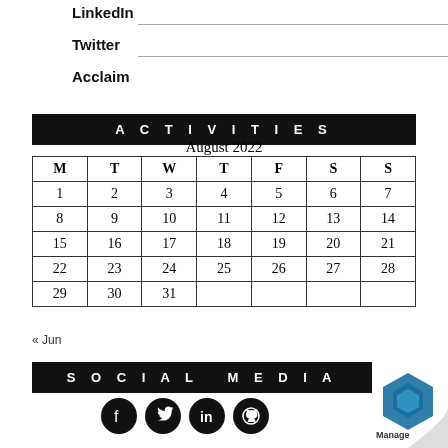LinkedIn
Twitter
Acclaim
ACTIVITIES
| M | T | W | T | F | S | S |
| --- | --- | --- | --- | --- | --- | --- |
| 1 | 2 | 3 | 4 | 5 | 6 | 7 |
| 8 | 9 | 10 | 11 | 12 | 13 | 14 |
| 15 | 16 | 17 | 18 | 19 | 20 | 21 |
| 22 | 23 | 24 | 25 | 26 | 27 | 28 |
| 29 | 30 | 31 |  |  |  |  |
« Jun
SOCIAL MEDIA
[Figure (illustration): Social media icons: Facebook, Twitter, LinkedIn, GitHub in black circles]
[Figure (logo): Page curl with Manage logo in bottom right corner]